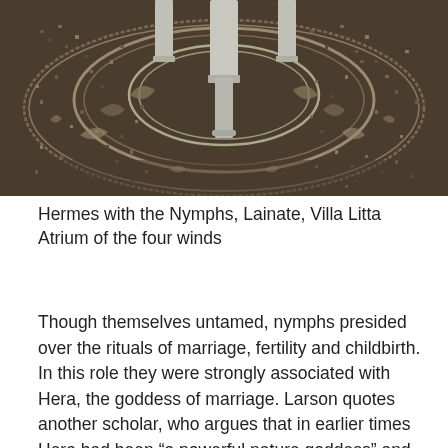[Figure (photo): Aerial or overhead view of an ornate mosaic floor pattern featuring circular and floral designs in dark stone, with what appears to be a fountain or architectural element in the center. Located at Villa Litta Atrium, Lainate. The mosaic is photographed from above showing intricate scrollwork and leaf patterns.]
Hermes with the Nymphs, Lainate, Villa Litta Atrium of the four winds
Though themselves untamed, nymphs presided over the rituals of marriage, fertility and childbirth. In this role they were strongly associated with Hera, the goddess of marriage. Larson quotes another scholar, who argues that in earlier times Hera had been “a powerful nature goddess” and “mistress of animals,” who underwent a process of acculturation. While nymphs were usually depicted as nudes, Hera’s images were predominantly clothed. Yet every year Hera retreated to a sacred spring